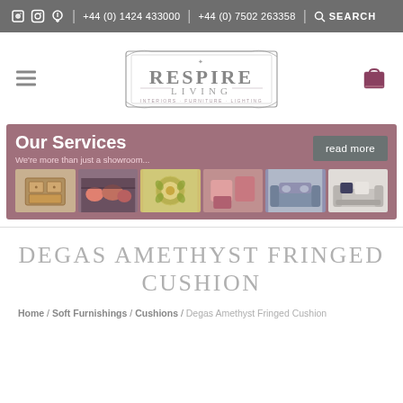f [instagram] [pinterest] | +44 (0) 1424 433000 | +44 (0) 7502 263358 | SEARCH
[Figure (logo): Respire Living logo — decorative frame with text RESPIRE LIVING Interiors Furniture Lighting]
[Figure (infographic): Our Services banner — mauve/rose background with bold white text 'Our Services', subtext 'We're more than just a showroom...', a 'read more' grey button, and six small interior/furniture photos]
DEGAS AMETHYST FRINGED CUSHION
Home / Soft Furnishings / Cushions / Degas Amethyst Fringed Cushion